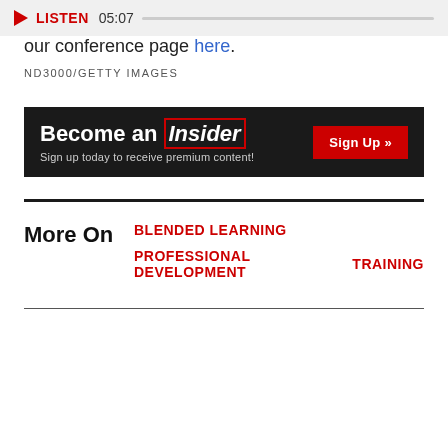[Figure (other): Audio player bar showing play button, LISTEN label, timestamp 05:07, and progress bar]
our conference page here.
ND3000/GETTY IMAGES
[Figure (infographic): Become an Insider banner ad with Sign Up button. Text: Become an Insider, Sign up today to receive premium content!]
More On   BLENDED LEARNING   PROFESSIONAL DEVELOPMENT   TRAINING